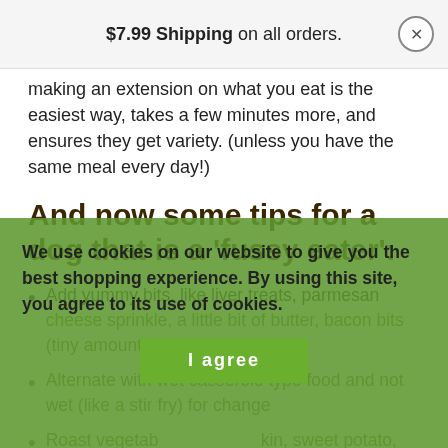$7.99 Shipping on all orders.
making an extension on what you eat is the easiest way, takes a few minutes more, and ensures they get variety. (unless you have the same meal every day!)
And now some tips for a dog that is a ‘fussy eater’:
Add yummy bits, like liver treats, parmesan cheese sprinkle, a little bit of butter, bacon bits (tiny amount makes a difference).
Alternate with wet casserole type food and not wet (like a stir fry) for change
Roast vegetables like pumpkin, sweet potato, carrots, parsnip to get sweet and
We use cookies on our website to give you the best shopping experience. By using this site, you agree to its use of cookies.